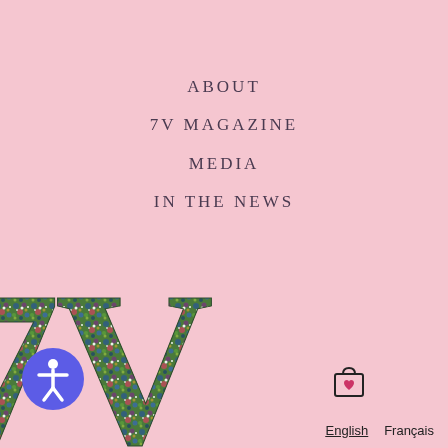ABOUT
7V MAGAZINE
MEDIA
IN THE NEWS
[Figure (logo): 7V Magazine logo: large '7V' text filled with a floral botanical pattern of flowers, leaves and berries in green, purple, pink on a pink background]
[Figure (illustration): Accessibility button: circular purple button with white person/accessibility icon]
English  Français